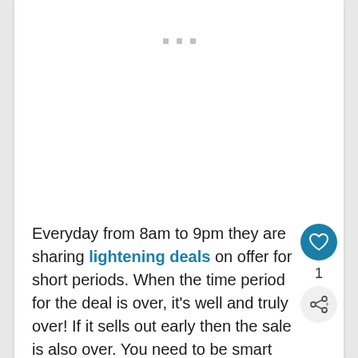[Figure (other): Three small grey dots arranged horizontally, UI loading/menu indicator]
Everyday from 8am to 9pm they are sharing lightening deals on offer for short periods. When the time period for the deal is over, it's well and truly over! If it sells out early then the sale is also over. You need to be smart with what you want to buy.